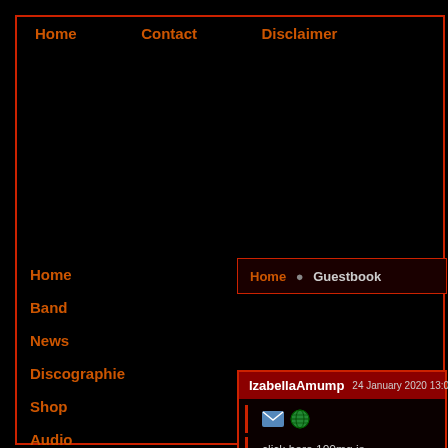Home   Contact   Disclaimer
Home
Band
News
Discographie
Shop
Audio
Video
Pictures
Presse
Guestbook
Home • Guestbook
IzabellaAmump   24 January 2020 13:03 | Polar
click here 100mg is
b603